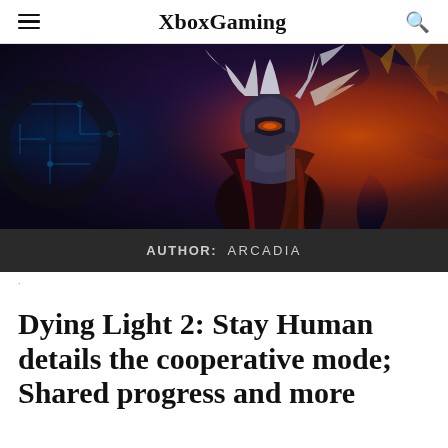XboxGaming
[Figure (illustration): Fantasy/game character artwork showing an armored warrior with white flowing hair against a dark background with blue circuit patterns on the left and orange fire/lava effects on the right.]
AUTHOR:  ARCADIA
Dying Light 2: Stay Human details the cooperative mode; Shared progress and more